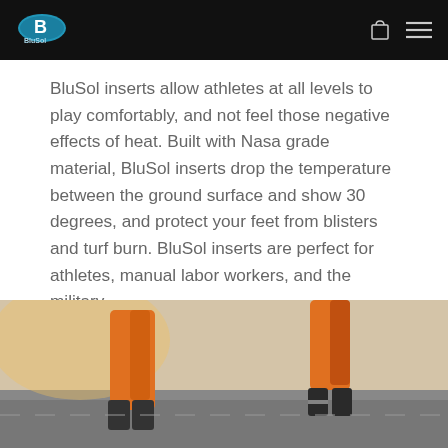BluSol [logo and navigation bar]
BluSol inserts allow athletes at all levels to play comfortably, and not feel those negative effects of heat. Built with Nasa grade material, BluSol inserts drop the temperature between the ground surface and show 30 degrees, and protect your feet from blisters and turf burn. BluSol inserts are perfect for athletes, manual labor workers, and the military.
[Figure (photo): Photo of a person in orange work pants and boots walking on a surface, likely a road or tarmac, viewed from the legs down.]